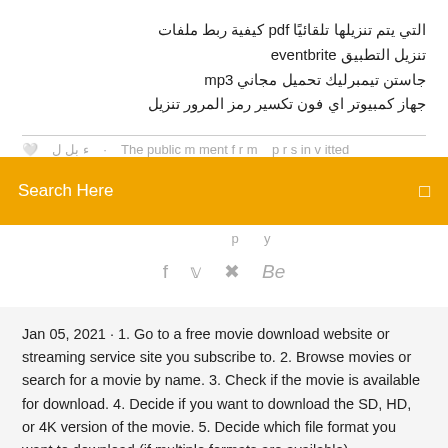التي يتم تنزيلها تلقائيًا pdf كيفية ربط ملفات
تنزيل التطبيق eventbrite
جاستن تيمبرليك تحميل مجاني mp3
جهاز كمبيوتر اي فون تكسير رمز المرور تنزيل
[Figure (other): Orange search bar with 'Search Here' placeholder text in white and a small white square icon on the right]
f  🐦  ⊛  Be
Jan 05, 2021 · 1. Go to a free movie download website or streaming service site you subscribe to. 2. Browse movies or search for a movie by name. 3. Check if the movie is available for download. 4. Decide if you want to download the SD, HD, or 4K version of the movie. 5. Decide which file format you want to download (if multiple formats are available).